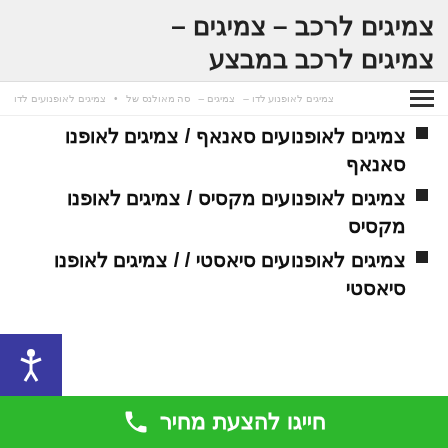צמיגים לרכב - צמיגים – צמיגים לרכב במבצע
צמיגים לאופנועים סאנאף / צמיגים לאופנו סאנאף
צמיגים לאופנועים מקסיס / צמיגים לאופנו מקסיס
צמיגים לאופנועים סיאסטי / / צמיגים לאופנו סיאסטי
חייגו להצעת מחיר